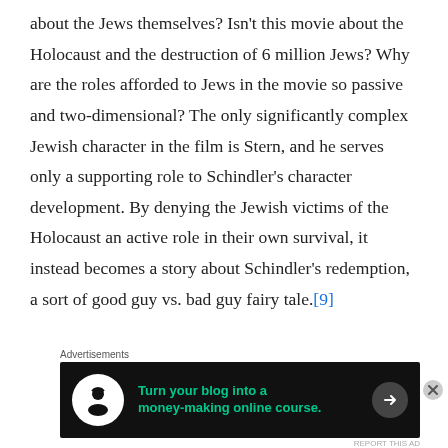about the Jews themselves? Isn't this movie about the Holocaust and the destruction of 6 million Jews? Why are the roles afforded to Jews in the movie so passive and two-dimensional? The only significantly complex Jewish character in the film is Stern, and he serves only a supporting role to Schindler's character development. By denying the Jewish victims of the Holocaust an active role in their own survival, it instead becomes a story about Schindler's redemption, a sort of good guy vs. bad guy fairy tale.[9]
The last major complaint about the movie ties into the simplified portrayal of Schindler and Goeth: it just
Advertisements
[Figure (other): Advertisement banner with dark background: icon of a person with graduation cap in white circle, green text 'Turn your blog into a money-making online course.' with right arrow button]